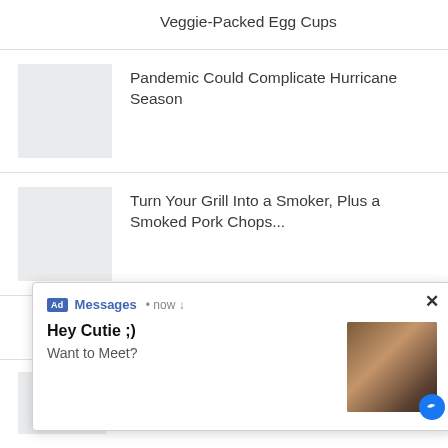Veggie-Packed Egg Cups
Pandemic Could Complicate Hurricane Season
Turn Your Grill Into a Smoker, Plus a Smoked Pork Chops...
[Figure (screenshot): Pop-up advertisement styled as a mobile notification. Shows 'Ad' badge, 'Messages' in blue, '• now', a close X button, bold text 'Hey Cutie ;)', subtext 'Want to Meet?', and a thumbnail photo of a person.]
Researchers: COVID Clinical Trials Lack Diversity